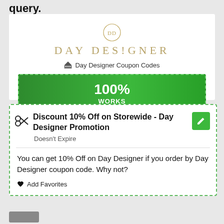query.
[Figure (logo): Day Designer logo with circular monogram icon and brand name in gold serif letters]
Day Designer Coupon Codes
100% WORKS
Discount 10% Off on Storewide - Day Designer Promotion
Doesn't Expire
You can get 10% Off on Day Designer if you order by Day Designer coupon code. Why not?
Add Favorites